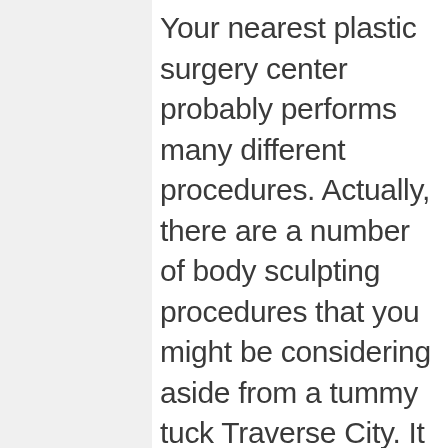Your nearest plastic surgery center probably performs many different procedures. Actually, there are a number of body sculpting procedures that you might be considering aside from a tummy tuck Traverse City. It is up to you and your surgeon to determine which one is best for you and will give you the results you want. During your consultation with a surgeon, the entire procedure will be explained to you so you know exactly what to expect. Your surgeon and the clinic's other medical personnel will be there